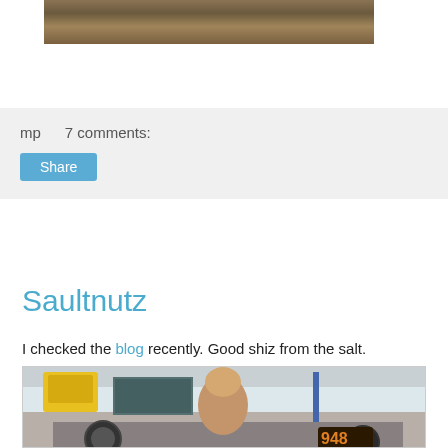[Figure (photo): Partial view of a photo showing rocky/sandy terrain in brown tones, top portion of the page]
mp    7 comments:
Share
Saultnutz
I checked the blog recently. Good shiz from the salt.
[Figure (photo): Photo of a blonde woman in a pink bikini top leaning over a vintage motorcycle numbered 948 on salt flats, with a yellow motorcycle visible in the background]